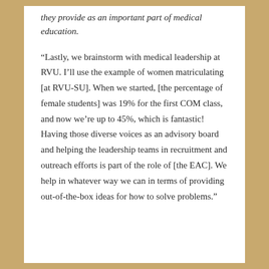they provide as an important part of medical education.
“Lastly, we brainstorm with medical leadership at RVU. I’ll use the example of women matriculating [at RVU-SU]. When we started, [the percentage of female students] was 19% for the first COM class, and now we’re up to 45%, which is fantastic! Having those diverse voices as an advisory board and helping the leadership teams in recruitment and outreach efforts is part of the role of [the EAC]. We help in whatever way we can in terms of providing out-of-the-box ideas for how to solve problems.”